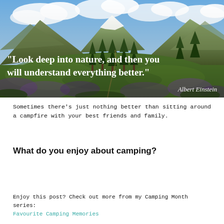[Figure (photo): Mountain valley landscape with green meadow, conifer trees, snow-capped peaks and blue cloudy sky. Overlaid with a white bold quote: '"Look deep into nature, and then you will understand everything better."' and italic attribution 'Albert Einstein' in the lower right.]
Sometimes there's just nothing better than sitting around a campfire with your best friends and family.
What do you enjoy about camping?
Enjoy this post? Check out more from my Camping Month series:
Favourite Camping Memories